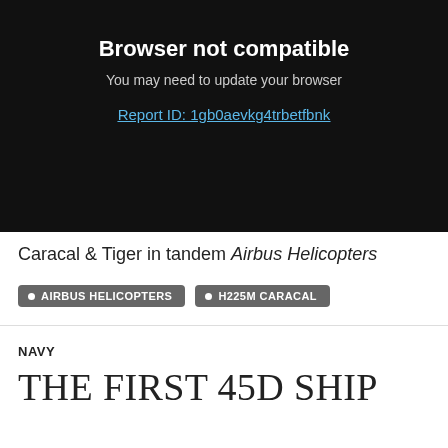[Figure (screenshot): Browser error screen with black background showing 'Browser not compatible' message, subtitle 'You may need to update your browser', and a blue underlined link 'Report ID: 1gb0aevkg4trbetfbnk']
Caracal & Tiger in tandem Airbus Helicopters
AIRBUS HELICOPTERS
H225M CARACAL
NAVY
THE FIRST 45D SHIP